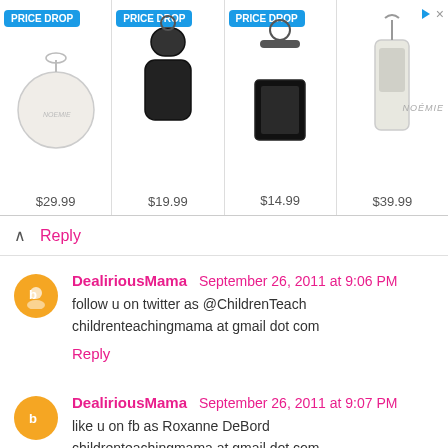[Figure (screenshot): Advertisement banner showing 4 product items with PRICE DROP badges and prices: $29.99, $19.99, $14.99, $39.99, with Noémie branding]
Reply
DealiriousMama September 26, 2011 at 9:06 PM
follow u on twitter as @ChildrenTeach
childrenteachingmama at gmail dot com
Reply
DealiriousMama September 26, 2011 at 9:07 PM
like u on fb as Roxanne DeBord
childrenteachingmama at gmail dot com
Reply
DealiriousMama September 26, 2011 at 9:07 PM